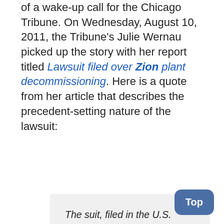of a wake-up call for the Chicago Tribune. On Wednesday, August 10, 2011, the Tribune's Julie Wernau picked up the story with her report titled Lawsuit filed over Zion plant decommissioning. Here is a quote from her article that describes the precedent-setting nature of the lawsuit:
The suit, filed in the U.S. District Court for the Northern District of Illinois by a group of local citizens, asks that a court-appointed third party manage the trust fund, which Commonwealth Edison customers paid into from 1998 to 2006.

“No qualified person or entity has been appointed to act as a trustee with respect to the trust funds to fully protect the rights of ComEd’s customers … or to review the